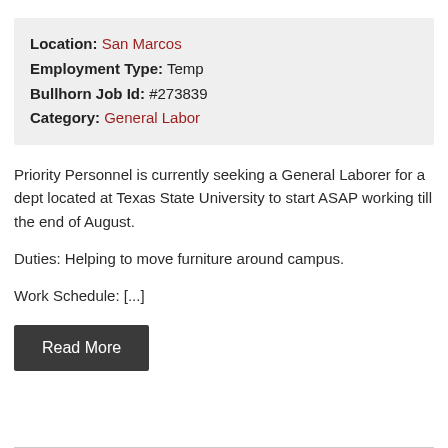Location: San Marcos
Employment Type: Temp
Bullhorn Job Id: #273839
Category: General Labor
Priority Personnel is currently seeking a General Laborer for a dept located at Texas State University to start ASAP working till the end of August.
Duties: Helping to move furniture around campus.
Work Schedule: [...]
Read More